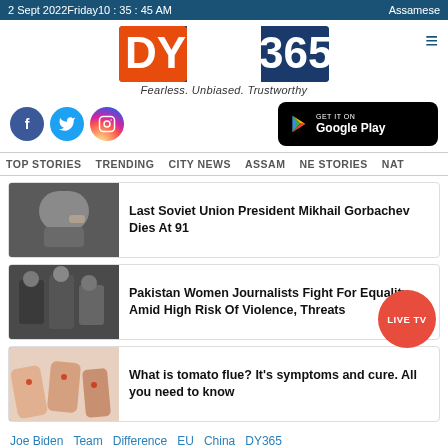2 Sept 2022Friday10 : 35 : 45 AM   Assamese
[Figure (logo): DY365 news logo with orange, white and blue colors. Tagline: Fearless. Unbiased. Trustworthy]
[Figure (other): Social media icons: Facebook, Twitter, Instagram and Google Play download button]
TOP STORIES   TRENDING   CITY NEWS   ASSAM   NE STORIES   NAT
[Figure (photo): Photo of Mikhail Gorbachev]
Last Soviet Union President Mikhail Gorbachev Dies At 91
[Figure (photo): Photo related to Pakistan Women Journalists story]
Pakistan Women Journalists Fight For Equality Amid High Risk Of Violence, Threats
[Figure (photo): Photo of hands related to tomato flu story]
What is tomato flue? It's symptoms and cure. All you need to know
Joe Biden   Team   Difference   EU   China   DY365
TWITTER